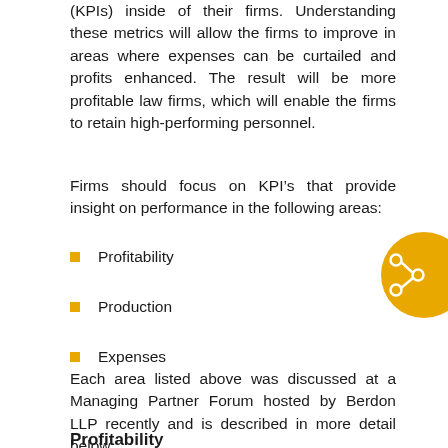(KPIs) inside of their firms. Understanding these metrics will allow the firms to improve in areas where expenses can be curtailed and profits enhanced. The result will be more profitable law firms, which will enable the firms to retain high-performing personnel.
Firms should focus on KPI’s that provide insight on performance in the following areas:
Profitability
Production
Expenses
Each area listed above was discussed at a Managing Partner Forum hosted by Berdon LLP recently and is described in more detail below.
Profitability